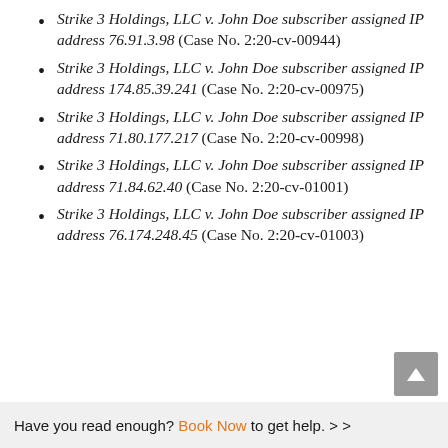Strike 3 Holdings, LLC v. John Doe subscriber assigned IP address 76.91.3.98 (Case No. 2:20-cv-00944)
Strike 3 Holdings, LLC v. John Doe subscriber assigned IP address 174.85.39.241 (Case No. 2:20-cv-00975)
Strike 3 Holdings, LLC v. John Doe subscriber assigned IP address 71.80.177.217 (Case No. 2:20-cv-00998)
Strike 3 Holdings, LLC v. John Doe subscriber assigned IP address 71.84.62.40 (Case No. 2:20-cv-01001)
Strike 3 Holdings, LLC v. John Doe subscriber assigned IP address 76.174.248.45 (Case No. 2:20-cv-01003)
Have you read enough? Book Now to get help. > >